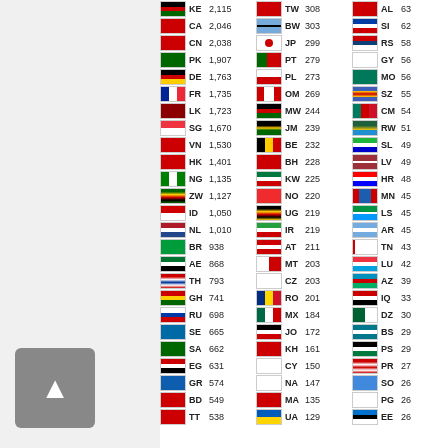| Flag | Code | Value | Flag | Code | Value | Flag | Code | Value |
| --- | --- | --- | --- | --- | --- | --- | --- | --- |
| KE | 2,115 | TW | 308 | AL | 63 |
| CA | 2,046 | BW | 303 | SI | 62 |
| CN | 2,038 | JP | 299 | RS | 58 |
| PK | 1,907 | PT | 279 | GY | 56 |
| DE | 1,763 | PL | 273 | MO | 56 |
| FR | 1,735 | OM | 269 | SZ | 55 |
| LK | 1,723 | MW | 244 | CM | 54 |
| SG | 1,670 | JM | 239 | RW | 51 |
| VN | 1,530 | BE | 232 | SL | 49 |
| HK | 1,401 | BH | 228 | LV | 49 |
| NG | 1,135 | KW | 225 | HR | 48 |
| ZW | 1,127 | NO | 220 | MN | 45 |
| ID | 1,050 | UG | 219 | LS | 45 |
| NL | 1,010 | IR | 219 | AR | 45 |
| BR | 938 | AT | 211 | TN | 43 |
| AE | 868 | MT | 203 | LU | 42 |
| TH | 793 | CZ | 203 | AZ | 39 |
| GH | 741 | RO | 201 | IQ | 33 |
| RU | 698 | MX | 184 | DZ | 30 |
| SE | 665 | JO | 172 | BS | 29 |
| SA | 662 | KH | 161 | PS | 29 |
| EG | 631 | CY | 150 | PR | 27 |
| GR | 574 | NA | 147 | SO | 26 |
| BD | 549 | MA | 135 | PG | 26 |
| TT | 538 | UA | 129 | EE | 26 |